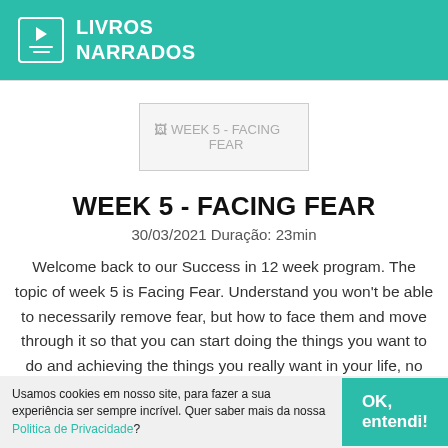LIVROS NARRADOS
[Figure (other): Broken image placeholder for WEEK 5 - FACING FEAR episode thumbnail]
WEEK 5 - FACING FEAR
30/03/2021 Duração: 23min
Welcome back to our Success in 12 week program. The topic of week 5 is Facing Fear. Understand you won't be able to necessarily remove fear, but how to face them and move through it so that you can start doing the things you want to do and achieving the things you really want in your life, no longer
Usamos cookies em nosso site, para fazer a sua experiência ser sempre incrível. Quer saber mais da nossa Politica de Privacidade?